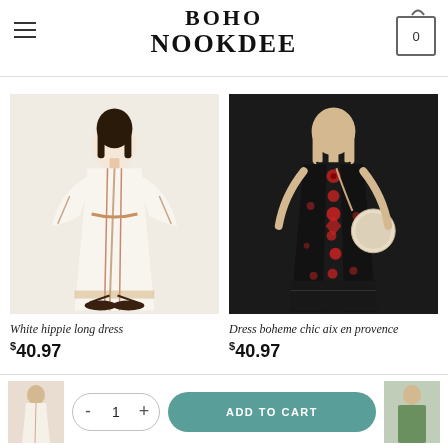BOHO NOOKDEE
Dress boheme chic turquoise hippie dress $65.97
[Figure (photo): Woman wearing a white hippie long dress with embroidered stripes, belted at the waist, paired with black strappy sandals, standing on a beige background.]
[Figure (photo): Woman wearing a black boho dress with red floral embroidery, carrying a round woven bag, standing on a dark background.]
White hippie long dress
$40.97
Dress boheme chic aix en provence
$40.97
[Figure (photo): Thumbnail of a boho dress on the left side of the footer cart bar.]
- 1 +
ADD TO CART